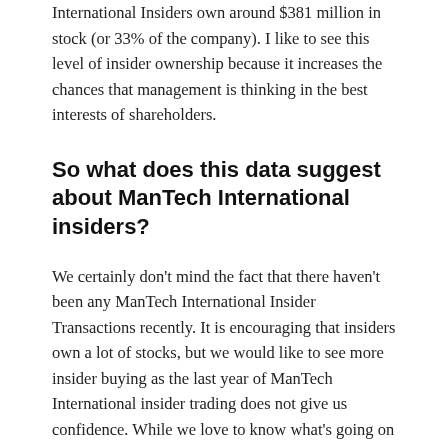International Insiders own around $381 million in stock (or 33% of the company). I like to see this level of insider ownership because it increases the chances that management is thinking in the best interests of shareholders.
So what does this data suggest about ManTech International insiders?
We certainly don't mind the fact that there haven't been any ManTech International Insider Transactions recently. It is encouraging that insiders own a lot of stocks, but we would like to see more insider buying as the last year of ManTech International insider trading does not give us confidence. While we love to know what's going on with insider ownership and trading, we also make sure to consider the risks a stock faces before making any investment decisions. For example – ManTech International has 1 warning sign we think you should be aware.
Sure, you might find a fantastic investment looking